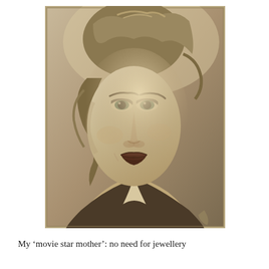[Figure (photo): A sepia-toned vintage portrait photograph of a young woman from approximately the 1940s. She has wavy curled hair, high cheekbones, defined eyebrows, and dark lipstick. She is looking slightly to the side with a subtle smile. She wears a dark jacket or blouse with a light collar visible at the bottom. The photograph has the style of a classic studio portrait.]
My 'movie star mother': no need for jewellery